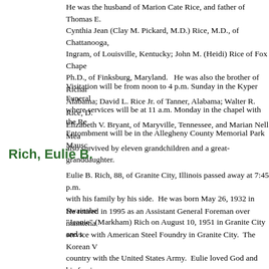He was the husband of Marion Cate Rice, and father of Thomas E. Cynthia Jean (Clay M. Pickard, M.D.) Rice, M.D., of Chattanooga, Ingram, of Louisville, Kentucky; John M. (Heidi) Rice of Fox Chape Ph.D., of Finksburg, Maryland.   He was also the brother of Richar Alabama; David L. Rice Jr. of Tanner, Alabama; Walter R. Rice, D. Elizabeth V. Bryant, of Maryville, Tennessee, and Marian Nell Mea also survived by eleven grandchildren and a great-granddaughter.
Visitation will be from noon to 4 p.m. Sunday in the Kyper Funeral where services will be at 11 a.m. Monday in the chapel with the Re Entombment will be in the Allegheny County Memorial Park Mausc
Rich, Eulie B.
Eulie B. Rich, 88, of Granite City, Illinois passed away at 7:45 p.m. with his family by his side.  He was born May 26, 1932 in Swainsbe "Jeanie" (Markham) Rich on August 10, 1951 in Granite City and s
He retired in 1995 as an Assistant General Foreman over maintena service with American Steel Foundry in Granite City.  The Korean V country with the United States Army.  Eulie loved God and his fami of Calvary Life Church in Granite City.  He was always an encoura throughout the world.  He was always tinkering with a project, coul plumbing and was a talented machinist. Eulie will be remembered and loving so deeply.
In addition to his beloved wife of nearly 70 years, he is survived by Debbie and Dan Brimer of Glen Carbon and Elizabeth and Jeff Co and their spouses, Gregory and Mandy Brimer, Aaron and Elisabe Rachel and Andy Ribbing and Hannah and Steven Trask; nine gre